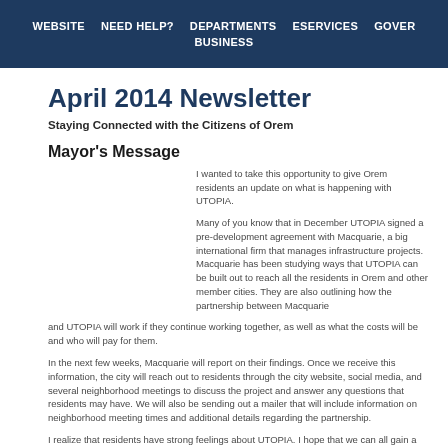WEBSITE   NEED HELP?   DEPARTMENTS   ESERVICES   GOVER...   BUSINESS
April 2014 Newsletter
Staying Connected with the Citizens of Orem
Mayor's Message
I wanted to take this opportunity to give Orem residents an update on what is happening with UTOPIA.
Many of you know that in December UTOPIA signed a pre-development agreement with Macquarie, a big international firm that manages infrastructure projects. Macquarie has been studying ways that UTOPIA can be built out to reach all the residents in Orem and other member cities. They are also outlining how the partnership between Macquarie and UTOPIA will work if they continue working together, as well as what the costs will be and who will pay for them.
In the next few weeks, Macquarie will report on their findings. Once we receive this information, the city will reach out to residents through the city website, social media, and several neighborhood meetings to discuss the project and answer any questions that residents may have. We will also be sending out a mailer that will include information on neighborhood meeting times and additional details regarding the partnership.
I realize that residents have strong feelings about UTOPIA. I hope that we can all gain a greater understanding of the options going forward and decide what is in the best interest of our community.